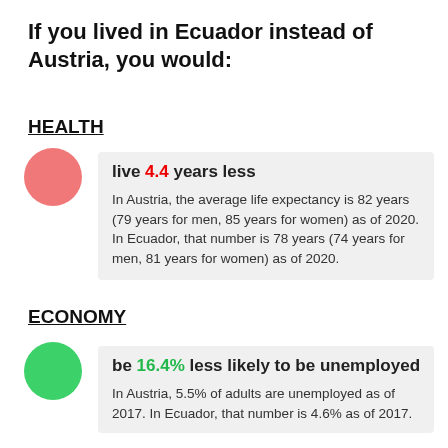If you lived in Ecuador instead of Austria, you would:
HEALTH
live 4.4 years less
In Austria, the average life expectancy is 82 years (79 years for men, 85 years for women) as of 2020. In Ecuador, that number is 78 years (74 years for men, 81 years for women) as of 2020.
ECONOMY
be 16.4% less likely to be unemployed
In Austria, 5.5% of adults are unemployed as of 2017. In Ecuador, that number is 4.6% as of 2017.